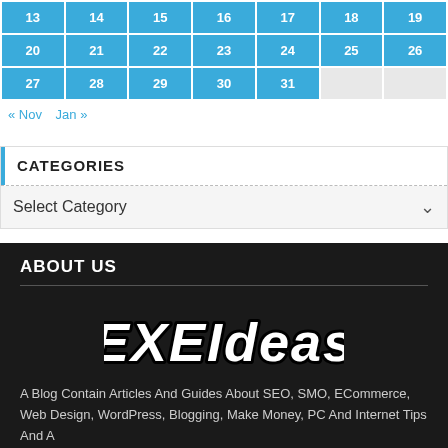| 13 | 14 | 15 | 16 | 17 | 18 | 19 |
| 20 | 21 | 22 | 23 | 24 | 25 | 26 |
| 27 | 28 | 29 | 30 | 31 |  |  |
« Nov   Jan »
CATEGORIES
Select Category
ABOUT US
[Figure (logo): EXEIdeas logo in graffiti-style white text with black outline]
A Blog Contain Articles And Guides About SEO, SMO, ECommerce, Web Design, WordPress, Blogging, Make Money, PC And Internet Tips And A